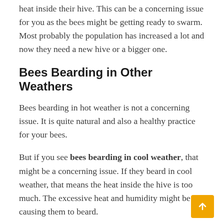heat inside their hive. This can be a concerning issue for you as the bees might be getting ready to swarm. Most probably the population has increased a lot and now they need a new hive or a bigger one.
Bees Bearding in Other Weathers
Bees bearding in hot weather is not a concerning issue. It is quite natural and also a healthy practice for your bees.
But if you see bees bearding in cool weather, that might be a concerning issue. If they beard in cool weather, that means the heat inside the hive is too much. The excessive heat and humidity might be causing them to beard.